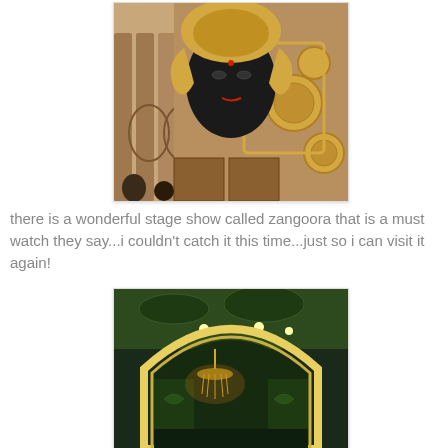[Figure (photo): Decorative facade with a large black face mask with gold ornamental headdress and surrounding intricate wooden carvings and circular motifs, in an Indian-style architectural setting]
there is a wonderful stage show called zangoora that is a must watch they say...i couldn't catch it this time...just so i can visit it again!
[Figure (photo): Interior architectural view through an illuminated arched gateway with green decorative walls and ceiling, with a chandelier visible in the background]